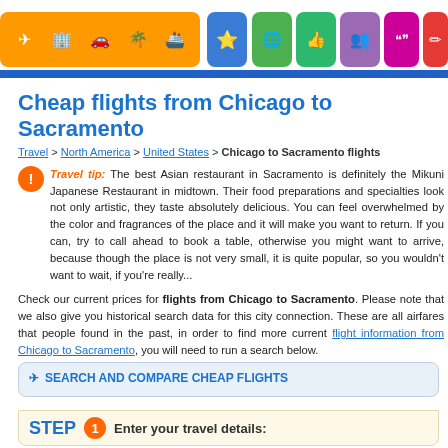[Figure (screenshot): Navigation bar with orange, blue, green, purple, pink, and red icon buttons for flights, hotels, cars, activities, and other travel services]
Cheap flights from Chicago to Sacramento
Travel > North America > United States > Chicago to Sacramento flights
Travel tip: The best Asian restaurant in Sacramento is definitely the Mikuni Japanese Restaurant in midtown. Their food preparations and specialties look not only artistic, they taste absolutely delicious. You can feel overwhelmed by the color and fragrances of the place and it will make you want to return. If you can, try to call ahead to book a table, otherwise you might want to arrive, because though the place is not very small, it is quite popular, so you wouldn't want to wait, if you're really...
Check our current prices for flights from Chicago to Sacramento. Please note that we also give you historical search data for this city connection. These are all airfares that people found in the past, in order to find more current flight information from Chicago to Sacramento, you will need to run a search below.
✈ SEARCH AND COMPARE CHEAP FLIGHTS
STEP 1 Enter your travel details: